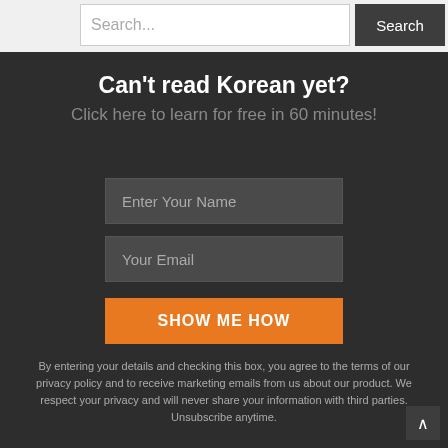[Figure (screenshot): Search bar with text input field showing placeholder 'Search...' and a dark 'Search' button on the right]
Can't read Korean yet?
Click here to learn for free in 60 minutes!
Enter Your Name
Your Email
SHOW ME HOW
By entering your details and checking this box, you agree to the terms of our privacy policy and to receive marketing emails from us about our product. We respect your privacy and will never share your information with third parties. Unsubscribe anytime.